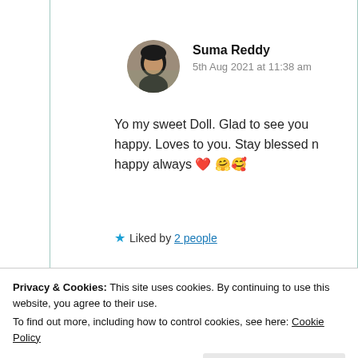Suma Reddy
5th Aug 2021 at 11:38 am

Yo my sweet Doll. Glad to see you happy. Loves to you. Stay blessed n happy always ❤ 🤗🥰

★ Liked by 2 people
Privacy & Cookies: This site uses cookies. By continuing to use this website, you agree to their use.
To find out more, including how to control cookies, see here: Cookie Policy
Close and accept